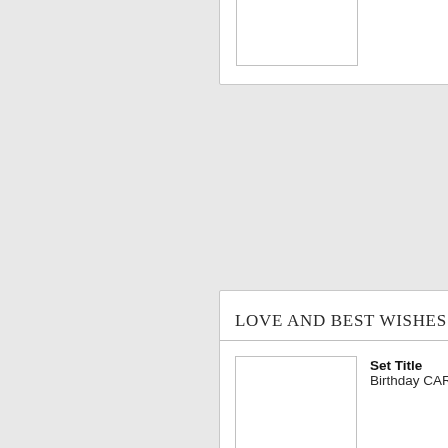Set Title
Birthday CARBONET
LOVE AND BEST WISHES FOR
Set Title
Birthday CARBONET
LOVING BIRTHDAY GREETING
Set Title
Birthday CARBONET